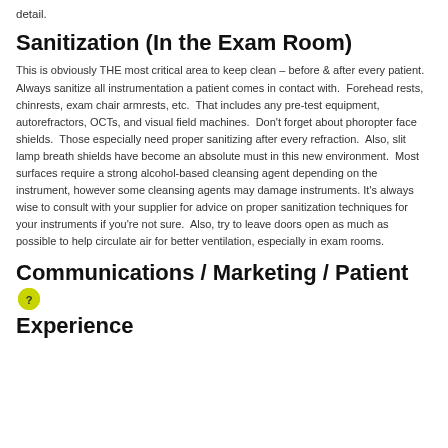detail.
Sanitization (In the Exam Room)
This is obviously THE most critical area to keep clean – before & after every patient.  Always sanitize all instrumentation a patient comes in contact with.  Forehead rests, chinrests, exam chair armrests, etc.  That includes any pre-test equipment, autorefractors, OCTs, and visual field machines.  Don't forget about phoropter face shields.  Those especially need proper sanitizing after every refraction.  Also, slit lamp breath shields have become an absolute must in this new environment.  Most surfaces require a strong alcohol-based cleansing agent depending on the instrument, however some cleansing agents may damage instruments. It's always wise to consult with your supplier for advice on proper sanitization techniques for your instruments if you're not sure.  Also, try to leave doors open as much as possible to help circulate air for better ventilation, especially in exam rooms.
Communications / Marketing / Patient Experience